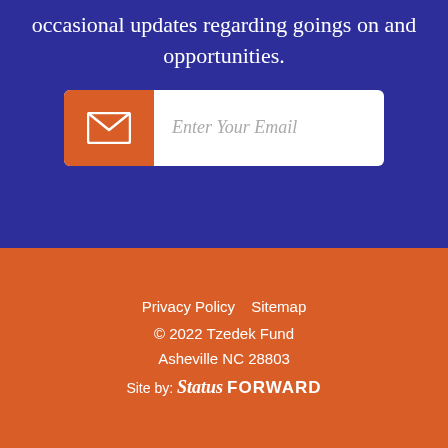occasional updates regarding goings on and opportunities.
[Figure (other): Email input field with orange envelope icon on left and 'Enter Your Email' placeholder text on right, white background with rounded corners]
Privacy Policy   Sitemap
© 2022 Tzedek Fund
Asheville NC 28803
Site by: Status FORWARD